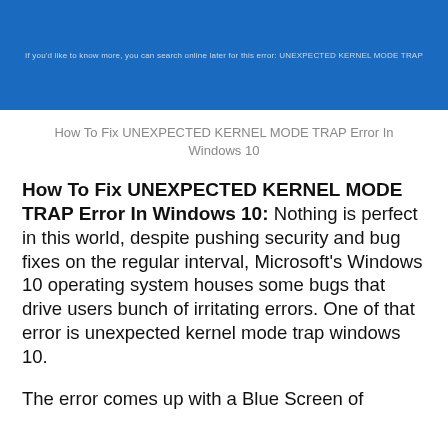[Figure (screenshot): Blue screen of death (BSOD) screenshot banner showing Windows 10 error message text: 'If you'd like to know more, you can search online later for this error: UNEXPECTED KERNEL MODE TRAP']
How To Fix UNEXPECTED KERNEL MODE TRAP Error In Windows 10
How To Fix UNEXPECTED KERNEL MODE TRAP Error In Windows 10:
Nothing is perfect in this world, despite pushing security and bug fixes on the regular interval, Microsoft's Windows 10 operating system houses some bugs that drive users bunch of irritating errors. One of that error is unexpected kernel mode trap windows 10.
The error comes up with a Blue Screen of